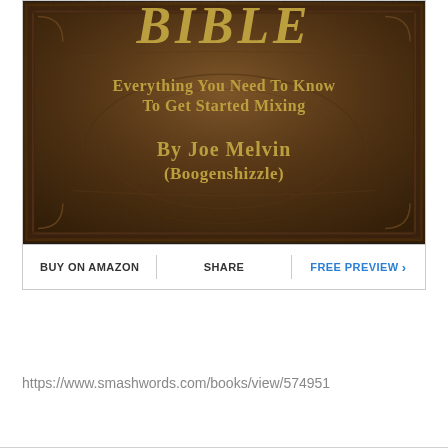[Figure (illustration): Book cover showing ornate brown textured background with gold text reading 'BIBLE', 'Everything You Need To Know To Get Started Mixing', 'By Joe Melvin (Boogenshizzle)']
BUY ON AMAZON | SHARE | FREE PREVIEW >
https://www.smashwords.com/books/view/574951